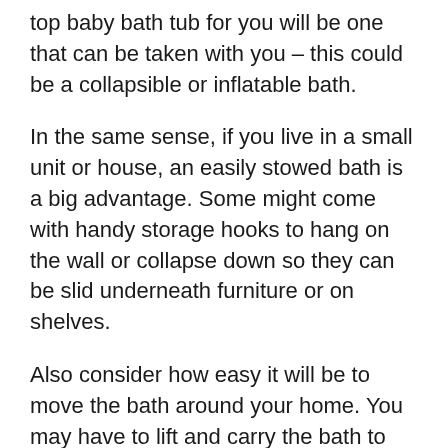top baby bath tub for you will be one that can be taken with you – this could be a collapsible or inflatable bath.
In the same sense, if you live in a small unit or house, an easily stowed bath is a big advantage. Some might come with handy storage hooks to hang on the wall or collapse down so they can be slid underneath furniture or on shelves.
Also consider how easy it will be to move the bath around your home. You may have to lift and carry the bath to empty it into the sink in which case the best portable baby bathtub is a must.